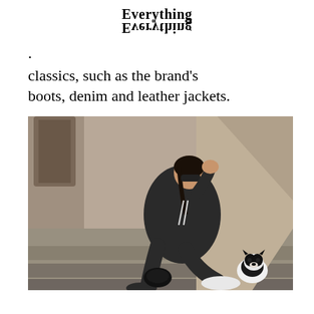Everything / Everything (mirrored)
. classics, such as the brand's boots, denim and leather jackets.
[Figure (photo): A woman wearing a dark hoodie and sweatpants sitting on outdoor stone steps with a small black and white dog (Boston Terrier) beside her. She is wearing sunglasses and white sneakers and holding a black bag. The background shows a brownstone building entrance.]